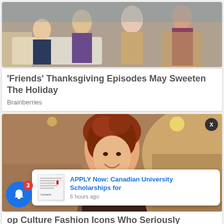[Figure (photo): Scene from Friends TV show with several cast members sitting/standing in a living room]
'Friends' Thanksgiving Episodes May Sweeten The Holiday
Brainberries
[Figure (photo): Young woman with red curly hair smiling, wearing an elegant dress with necklace]
[Figure (screenshot): Notification popup: APPLY Now: Canadian University Scholarships for, 6 hours ago]
op Culture Fashion Icons Who Seriously Inspired Us